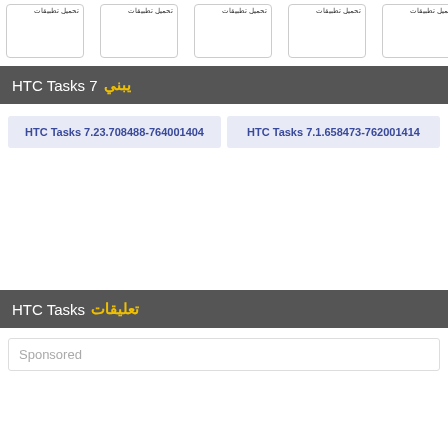[Figure (other): Row of five app/content cards with Arabic text labels at top]
يبني HTC Tasks 7
HTC Tasks 7.23.708488-764001404
HTC Tasks 7.1.658473-762001414
تعليقات HTC Tasks
Sponsored